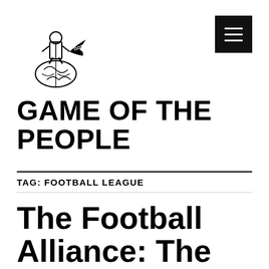[Figure (logo): Game of the People logo: a figure in referee attire standing atop a football, holding a banner with 'GOTP' text]
GAME OF THE PEOPLE
TAG: FOOTBALL LEAGUE
The Football Alliance: The forgotten league